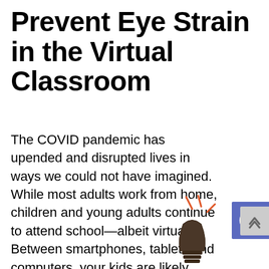Prevent Eye Strain in the Virtual Classroom
The COVID pandemic has upended and disrupted lives in ways we could not have imagined. While most adults work from home, children and young adults continue to attend school—albeit virtually. Between smartphones, tablets and computers, your kids are likely spending 6 to 10 hours a day looking at screens.
[Figure (illustration): Illustration showing a light bulb with rays and a person with curly hair, representing the virtual classroom concept]